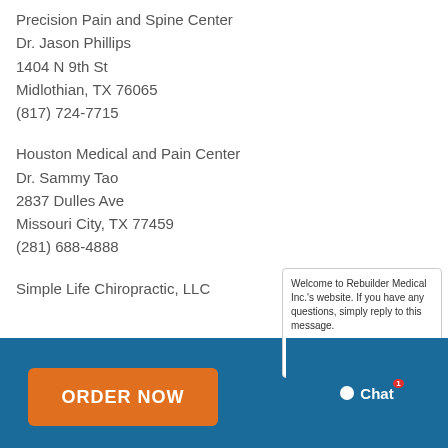Precision Pain and Spine Center
Dr. Jason Phillips
1404 N 9th St
Midlothian, TX 76065
(817) 724-7715
Houston Medical and Pain Center
Dr. Sammy Tao
2837 Dulles Ave
Missouri City, TX 77459
(281) 688-4888
Simple Life Chiropractic, LLC